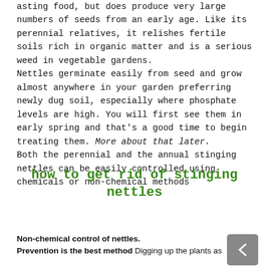asting food, but does produce very large numbers of seeds from an early age. Like its perennial relatives, it relishes fertile soils rich in organic matter and is a serious weed in vegetable gardens.
Nettles germinate easily from seed and grow almost anywhere in your garden preferring newly dug soil, especially where phosphate levels are high. You will first see them in early spring and that's a good time to begin treating them. More about that later.
Both the perennial and the annual stinging nettles can be easily controlled using chemicals or non-chemical methods
how to get rid of stinging nettles
Non-chemical control of nettles.
Prevention is the best method Digging up the plants as